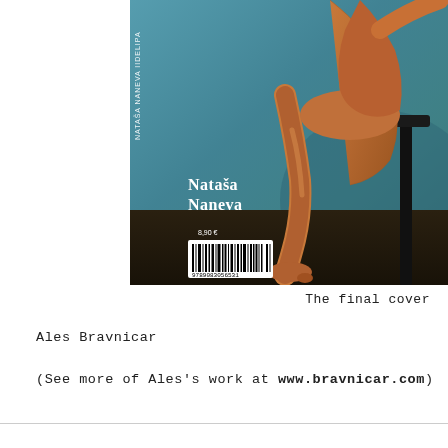[Figure (photo): Book back cover showing a figure seated on a dark chair against a blue-teal painted wall. Text on the cover reads 'Nataša Naneva' with a barcode below. A vertical spine text is visible on the left edge of the cover.]
The final cover
Ales Bravnicar
(See more of Ales's work at www.bravnicar.com)